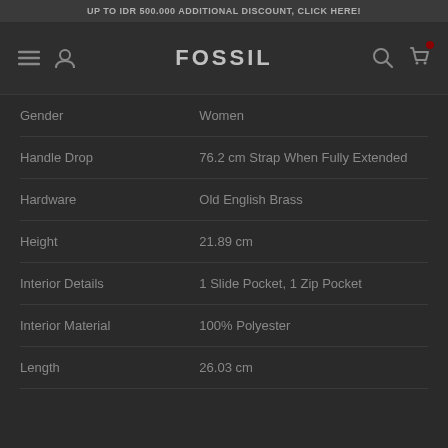UP TO IDR 500.000 ADDITIONAL DISCOUNT, CLICK HERE!
[Figure (screenshot): Fossil brand navigation bar with hamburger menu, user icon, FOSSIL logo, search icon and cart icon with red badge]
| Attribute | Value |
| --- | --- |
| Gender | Women |
| Handle Drop | 76.2 cm Strap When Fully Extended |
| Hardware | Old English Brass |
| Height | 21.89 cm |
| Interior Details | 1 Slide Pocket, 1 Zip Pocket |
| Interior Material | 100% Polyester |
| Length | 26.03 cm |